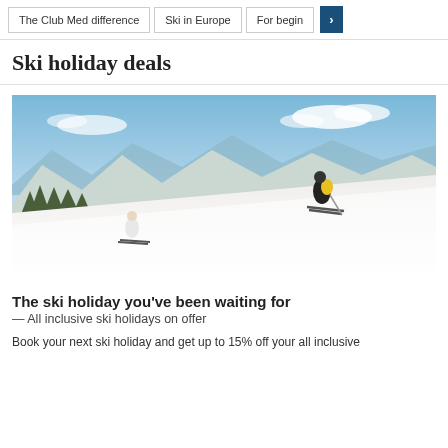The Club Med difference | Ski in Europe | For begin >
Ski holiday deals
[Figure (photo): Two skiers descending a snowy alpine slope with forested mountains and blue sky in the background.]
The ski holiday you’ve been waiting for
— All inclusive ski holidays on offer
Book your next ski holiday and get up to 15% off your all inclusive